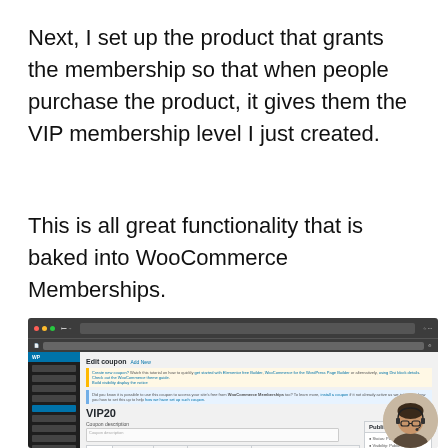Next, I set up the product that grants the membership so that when people purchase the product, it gives them the VIP membership level I just created.
This is all great functionality that is baked into WooCommerce Memberships.
[Figure (screenshot): Screenshot of a WordPress admin panel showing the WooCommerce Edit coupon page with 'VIP20' coupon being edited. The sidebar shows WooCommerce navigation, and the main content area shows coupon details, publish metabox, and coupon components. A small circular avatar of a person with glasses and headset is visible in the bottom-right corner.]